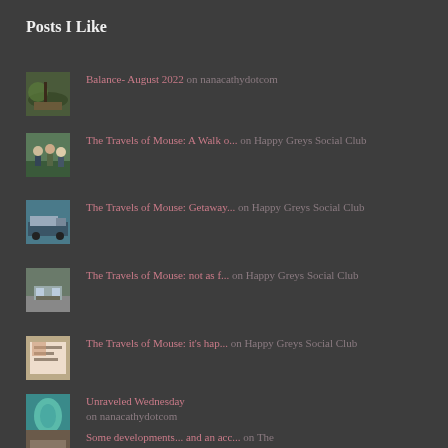Posts I Like
Balance- August 2022 on nanacathydotcom
The Travels of Mouse: A Walk o... on Happy Greys Social Club
The Travels of Mouse: Getaway... on Happy Greys Social Club
The Travels of Mouse: not as f... on Happy Greys Social Club
The Travels of Mouse: it's hap... on Happy Greys Social Club
Unraveled Wednesday on nanacathydotcom
Some developments... and an acc... on The